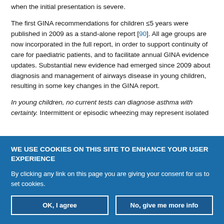when the initial presentation is severe.
The first GINA recommendations for children ≤5 years were published in 2009 as a stand-alone report [90]. All age groups are now incorporated in the full report, in order to support continuity of care for paediatric patients, and to facilitate annual GINA evidence updates. Substantial new evidence had emerged since 2009 about diagnosis and management of airways disease in young children, resulting in some key changes in the GINA report.
In young children, no current tests can diagnose asthma with certainty. Intermittent or episodic wheezing may represent isolated
WE USE COOKIES ON THIS SITE TO ENHANCE YOUR USER EXPERIENCE
By clicking any link on this page you are giving your consent for us to set cookies.
OK, I agree | No, give me more info